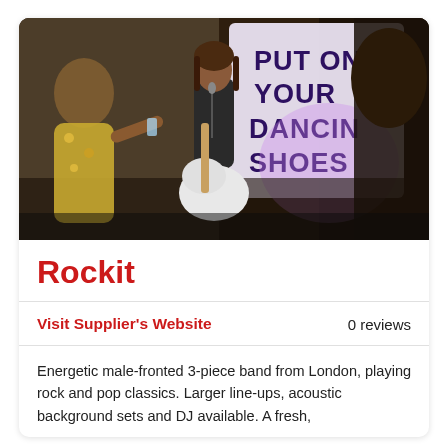[Figure (photo): A guitarist playing a white electric guitar at an indoor event, with a banner reading PUT ON YOUR DANCING SHOES in the background. A woman in a floral dress is visible on the left, and another person on the right.]
Rockit
Visit Supplier's Website    0 reviews
Energetic male-fronted 3-piece band from London, playing rock and pop classics. Larger line-ups, acoustic background sets and DJ available. A fresh,